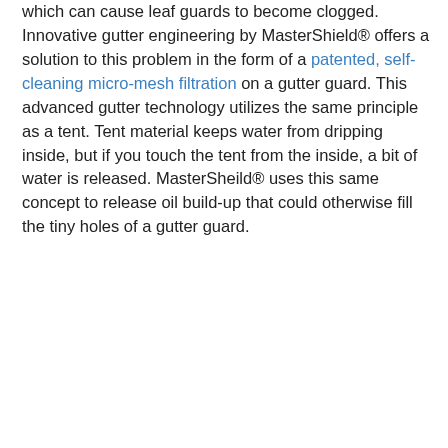which can cause leaf guards to become clogged. Innovative gutter engineering by MasterShield® offers a solution to this problem in the form of a patented, self-cleaning micro-mesh filtration on a gutter guard. This advanced gutter technology utilizes the same principle as a tent. Tent material keeps water from dripping inside, but if you touch the tent from the inside, a bit of water is released. MasterSheild® uses this same concept to release oil build-up that could otherwise fill the tiny holes of a gutter guard.